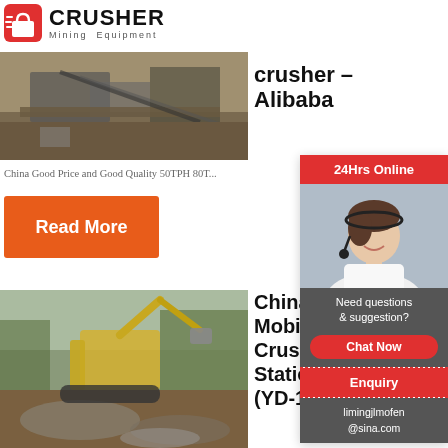[Figure (logo): Crusher Mining Equipment logo with red shopping bag icon and bold CRUSHER text]
[Figure (photo): Aerial view of a mining crusher operation site with machinery and equipment]
crusher - Alibaba
China Good Price and Good Quality 50TPH 80T...
Read More
[Figure (photo): Excavator working at a mobile crushing station site with rubble and trees in background]
China Mobile Crushing Station (YD-1...
[Figure (other): 24Hrs Online customer service panel with woman wearing headset, Chat Now button, Enquiry, and email limingjlmofen@sina.com]